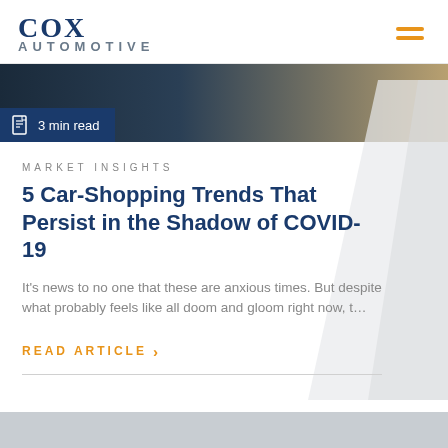Cox Automotive
[Figure (photo): Article header image with dark blue/amber tones and a badge reading '3 min read' with a document icon]
MARKET INSIGHTS
5 Car-Shopping Trends That Persist in the Shadow of COVID-19
It's news to no one that these are anxious times. But despite what probably feels like all doom and gloom right now, t…
READ ARTICLE ›